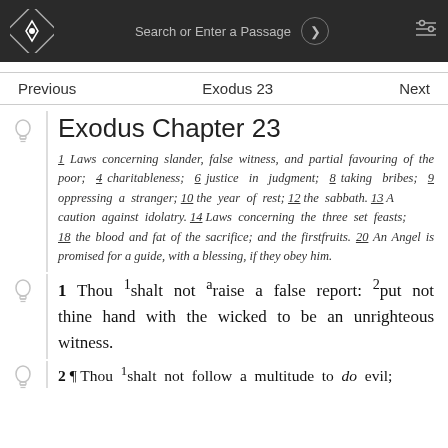Search or Enter a Passage
Previous  Exodus 23  Next
Exodus Chapter 23
1 Laws concerning slander, false witness, and partial favouring of the poor; 4 charitableness; 6 justice in judgment; 8 taking bribes; 9 oppressing a stranger; 10 the year of rest; 12 the sabbath. 13 A caution against idolatry. 14 Laws concerning the three set feasts; 18 the blood and fat of the sacrifice; and the firstfruits. 20 An Angel is promised for a guide, with a blessing, if they obey him.
1 Thou shalt not raise a false report: put not thine hand with the wicked to be an unrighteous witness.
2 ¶ Thou shalt not follow a multitude to do evil;